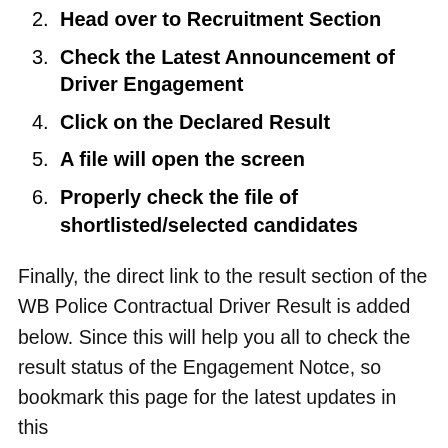2. Head over to Recruitment Section
3. Check the Latest Announcement of Driver Engagement
4. Click on the Declared Result
5. A file will open the screen
6. Properly check the file of shortlisted/selected candidates
Finally, the direct link to the result section of the WB Police Contractual Driver Result is added below. Since this will help you all to check the result status of the Engagement Notce, so bookmark this page for the latest updates in this